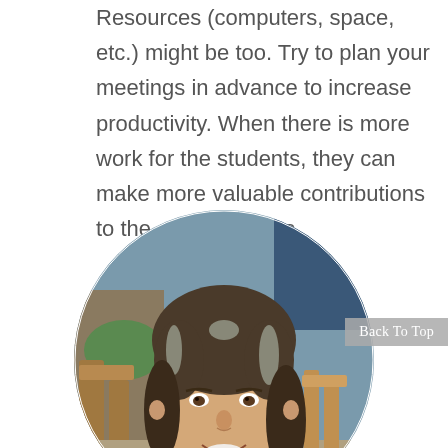Resources (computers, space, etc.) might be too. Try to plan your meetings in advance to increase productivity. When there is more work for the students, they can make more valuable contributions to the entire process.
[Figure (photo): Circular cropped portrait photo of a woman with curly brown and gray hair, smiling, seated outdoors with blurred background showing chairs and greenery.]